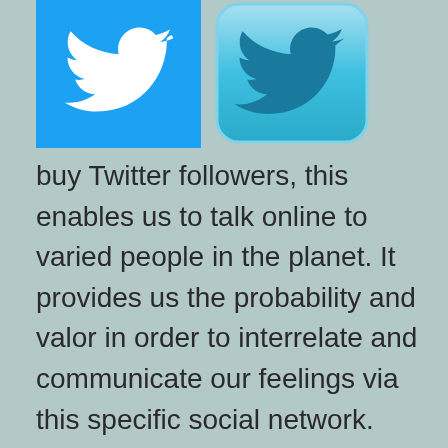[Figure (illustration): Two social media icons side by side: Twitter bird logo on blue square background, and a Facebook/social media icon on a rounded blue square button]
buy Twitter followers, this enables us to talk online to varied people in the planet. It provides us the probability and valor in order to interrelate and communicate our feelings via this specific social network. Facebook end individuals can even uncover their very own circle by joining to that team which they come under the exact same areas of passion.
Tag photos, expose information, develop chums, request to obtain ones invitations are uncomplicated clicks to get in FB. Everybody